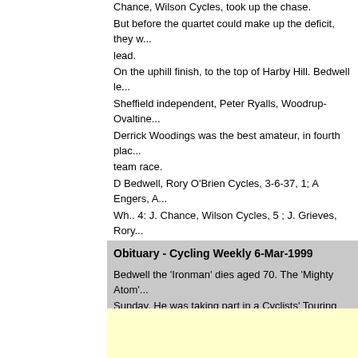Chance, Wilson Cycles, took up the chase. But before the quartet could make up the deficit, they w... lead. On the uphill finish, to the top of Harby Hill. Bedwell le... Sheffield independent, Peter Ryalls, Woodrup-Ovaltine... Derrick Woodings was the best amateur, in fourth plac... team race. D Bedwell, Rory O'Brien Cycles, 3-6-37, 1; A Engers, A... Wh.. 4: J. Chance, Wilson Cycles, 5 ; J. Grieves, Rory...
Obituary - Cycling Weekly 6-Mar-1999
Bedwell the 'Ironman' dies aged 70. The 'Mighty Atom'... Sunday. He was taking part in a Cyclists' Touring Club... Kingskerwell. Shortly afterwards, his companions foun... In 1949 Bedwell won the British League of Racing Cyc... He was famed for his electrifying sprint and earned a r... Stablinski. In one season at home, Bedwell was beate...